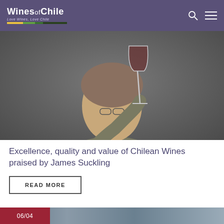Wines of Chile — Love Wines, Love Chile
[Figure (photo): Man in olive shirt holding a red wine glass up, smiling, dark grey background]
Excellence, quality and value of Chilean Wines praised by James Suckling
READ MORE
[Figure (photo): Partial bottom image with date badge 06/04, colorful painted or tiled surface]